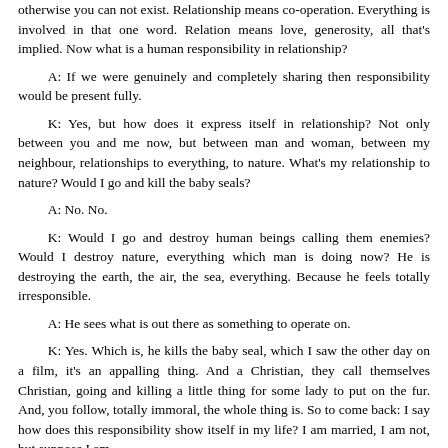otherwise you can not exist. Relationship means co-operation. Everything is involved in that one word. Relation means love, generosity, all that's implied. Now what is a human responsibility in relationship?
A: If we were genuinely and completely sharing then responsibility would be present fully.
K: Yes, but how does it express itself in relationship? Not only between you and me now, but between man and woman, between my neighbour, relationships to everything, to nature. What's my relationship to nature? Would I go and kill the baby seals?
A: No. No.
K: Would I go and destroy human beings calling them enemies? Would I destroy nature, everything which man is doing now? He is destroying the earth, the air, the sea, everything. Because he feels totally irresponsible.
A: He sees what is out there as something to operate on.
K: Yes. Which is, he kills the baby seal, which I saw the other day on a film, it's an appalling thing. And a Christian, they call themselves Christian, going and killing a little thing for some lady to put on the fur. And, you follow, totally immoral, the whole thing is. So to come back: I say how does this responsibility show itself in my life? I am married, I am not, but suppose I am